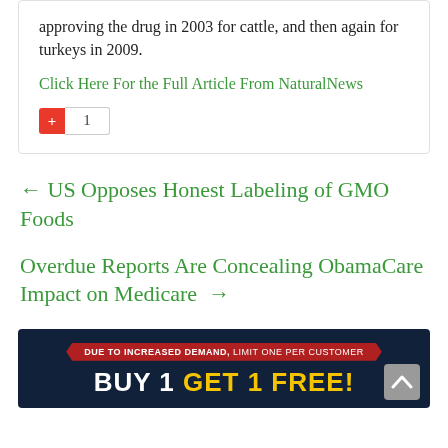approving the drug in 2003 for cattle, and then again for turkeys in 2009.
Click Here For the Full Article From NaturalNews
+1
← US Opposes Honest Labeling of GMO Foods
Overdue Reports Are Concealing ObamaCare Impact on Medicare →
[Figure (infographic): Dark blue advertisement banner reading 'DUE TO INCREASED DEMAND, LIMIT ONE PER CUSTOMER' on a red ribbon, followed by large text 'BUY 1 GET 1 FREE!' in white and yellow.]